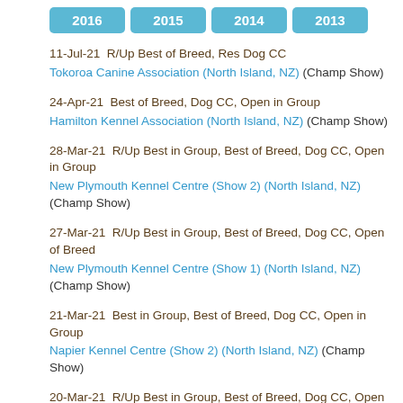2016 2015 2014 2013 (year navigation buttons)
11-Jul-21  R/Up Best of Breed, Res Dog CC
Tokoroa Canine Association (North Island, NZ) (Champ Show)
24-Apr-21  Best of Breed, Dog CC, Open in Group
Hamilton Kennel Association (North Island, NZ) (Champ Show)
28-Mar-21  R/Up Best in Group, Best of Breed, Dog CC, Open in Group
New Plymouth Kennel Centre (Show 2) (North Island, NZ)
(Champ Show)
27-Mar-21  R/Up Best in Group, Best of Breed, Dog CC, Open of Breed
New Plymouth Kennel Centre (Show 1) (North Island, NZ)
(Champ Show)
21-Mar-21  Best in Group, Best of Breed, Dog CC, Open in Group
Napier Kennel Centre (Show 2) (North Island, NZ) (Champ Show)
20-Mar-21  R/Up Best in Group, Best of Breed, Dog CC, Open in